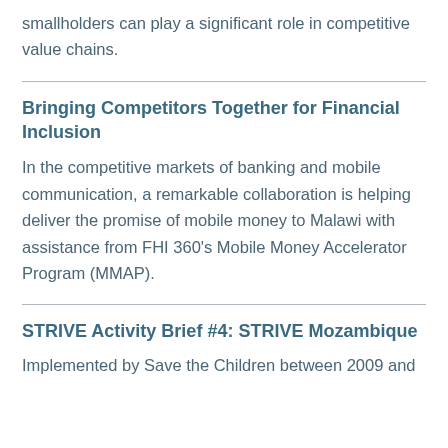smallholders can play a significant role in competitive value chains.
Bringing Competitors Together for Financial Inclusion
In the competitive markets of banking and mobile communication, a remarkable collaboration is helping deliver the promise of mobile money to Malawi with assistance from FHI 360’s Mobile Money Accelerator Program (MMAP).
STRIVE Activity Brief #4: STRIVE Mozambique
Implemented by Save the Children between 2009 and